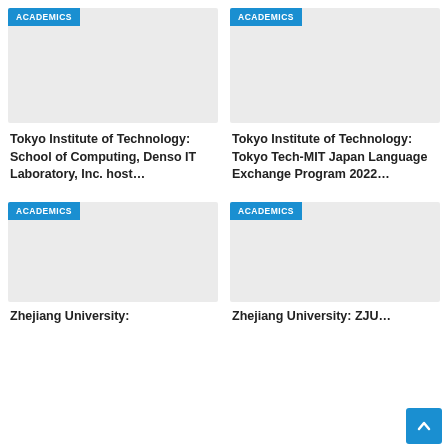[Figure (illustration): Gray placeholder image with ACADEMICS blue badge label, top-left card]
[Figure (illustration): Gray placeholder image with ACADEMICS blue badge label, top-right card]
Tokyo Institute of Technology: School of Computing, Denso IT Laboratory, Inc. host…
Tokyo Institute of Technology: Tokyo Tech-MIT Japan Language Exchange Program 2022…
[Figure (illustration): Gray placeholder image with ACADEMICS blue badge label, bottom-left card]
[Figure (illustration): Gray placeholder image with ACADEMICS blue badge label, bottom-right card]
Zhejiang University:
Zhejiang University: ZJU…